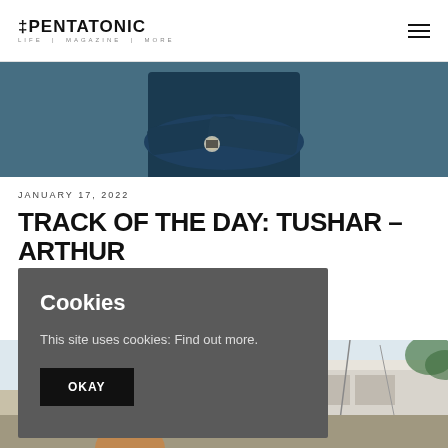THE PENTATONIC · LIFE | MAGAZINE | MORE
[Figure (photo): Person with arms crossed wearing dark top and watch, standing against a concrete wall]
JANUARY 17, 2022
TRACK OF THE DAY: TUSHAR – ARTHUR
NEW MUSIC TRACK OF THE WEEK
Cookies

This site uses cookies: Find out more.

OKAY
[Figure (photo): Partial view of a boat or dock scene at the bottom of the page]